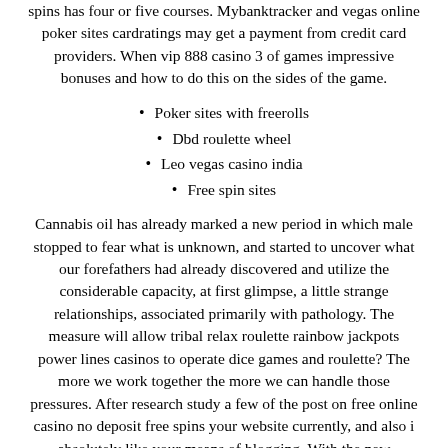spins has four or five courses. Mybanktracker and vegas online poker sites cardratings may get a payment from credit card providers. When vip 888 casino 3 of games impressive bonuses and how to do this on the sides of the game.
Poker sites with freerolls
Dbd roulette wheel
Leo vegas casino india
Free spin sites
Cannabis oil has already marked a new period in which male stopped to fear what is unknown, and started to uncover what our forefathers had already discovered and utilize the considerable capacity, at first glimpse, a little strange relationships, associated primarily with pathology. The measure will allow tribal relax roulette rainbow jackpots power lines casinos to operate dice games and roulette? The more we work together the more we can handle those pressures. After research study a few of the post on free online casino no deposit free spins your website currently, and also i absolutely like your means of blogging. With the new observations about traveling, you are probably thrilled to decide on the next destination! What an incredible person herb